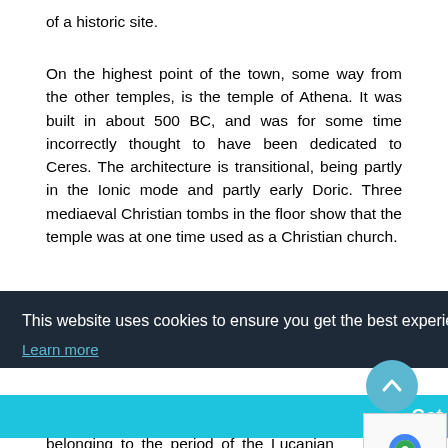of a historic site.
On the highest point of the town, some way from the other temples, is the temple of Athena. It was built in about 500 BC, and was for some time incorrectly thought to have been dedicated to Ceres. The architecture is transitional, being partly in the Ionic mode and partly early Doric. Three mediaeval Christian tombs in the floor show that the temple was at one time used as a Christian church.
This website uses cookies to ensure you get the best experience on our website.
Learn more
Got it!
belonging to the period of the Lucanian rule, while only